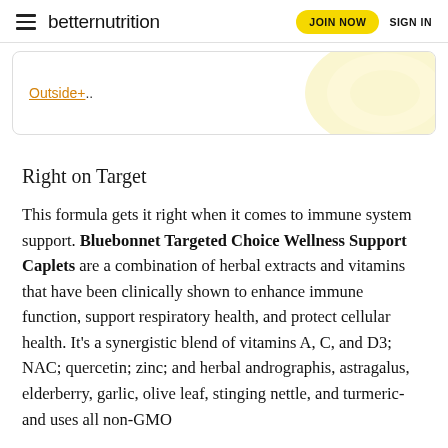betternutrition | JOIN NOW | SIGN IN
[Figure (other): Promotional box with orange underlined link 'Outside+.' and a large pale yellow circular logo shape on the right]
Right on Target
This formula gets it right when it comes to immune system support. Bluebonnet Targeted Choice Wellness Support Caplets are a combination of herbal extracts and vitamins that have been clinically shown to enhance immune function, support respiratory health, and protect cellular health. It’s a synergistic blend of vitamins A, C, and D3; NAC; quercetin; zinc; and herbal andrographis, astragalus, elderberry, garlic, olive leaf, stinging nettle, and turmeric-and uses all non-GMO